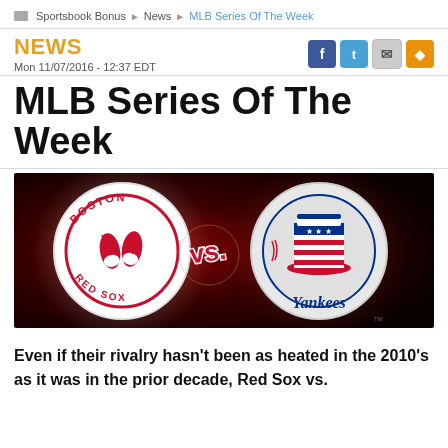Sportsbook Bonus > News > MLB Series Of The Week
NEWS
Mon 11/07/2016 - 12:37 EDT
MLB Series Of The Week
[Figure (illustration): Boston Red Sox vs. New York Yankees logos on dark red background with 'vs.' text in center]
Even if their rivalry hasn’t been as heated in the 2010’s as it was in the prior decade, Red Sox vs.